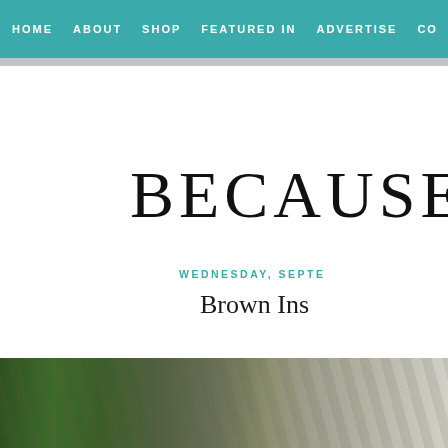HOME   ABOUT   SHOP   FEATURED IN   ADVERTISE   CO...
BECAUSE O
WEDNESDAY, SEPTE...
Brown Ins...
[Figure (photo): Outdoor photo showing green leaves and wooden sticks or antlers against a natural background]